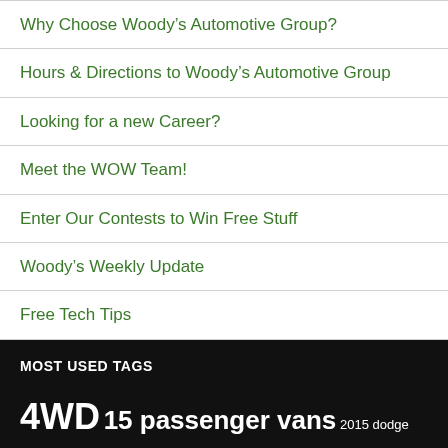Why Choose Woody's Automotive Group?
Hours & Directions to Woody's Automotive Group
Looking for a new Career?
Meet the WOW Team!
Enter Our Contests to Win Free Stuff
Woody's Weekly Update
Free Tech Tips
MOST USED TAGS
4WD 15 passenger vans 2015 dodge challenger AWD Beats by Dre college college sports dodge avener dodge avenger Dodge Challenger Dodge Charger dodge dart Dodge Durango